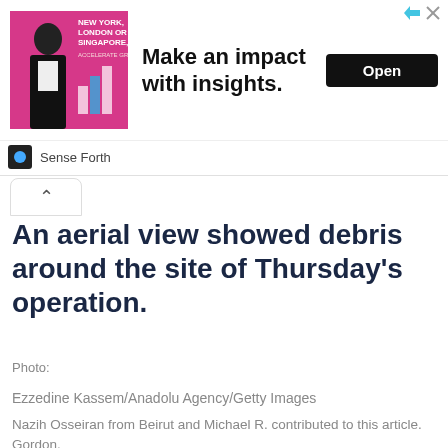[Figure (screenshot): Advertisement banner for 'Sense Forth' with image of man and text 'Make an impact with insights.' and an Open button]
An aerial view showed debris around the site of Thursday's operation.
Photo:
Ezzedine Kassem/Anadolu Agency/Getty Images
Nazih Osseiran from Beirut and Michael R. contributed to this article. Gordon.